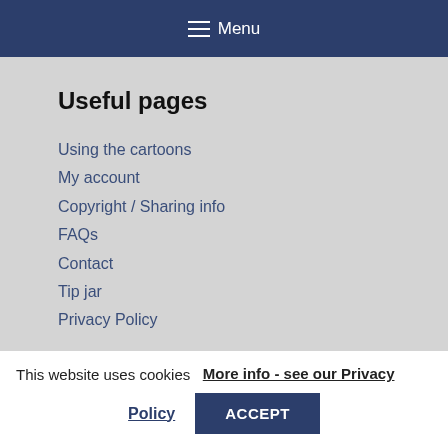≡ Menu
Useful pages
Using the cartoons
My account
Copyright / Sharing info
FAQs
Contact
Tip jar
Privacy Policy
This website uses cookies   More info - see our Privacy Policy
ACCEPT